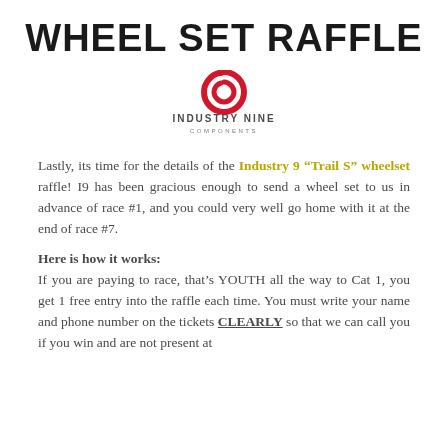WHEEL SET RAFFLE
[Figure (logo): Industry Nine Components logo: red spiral/circle mark above text 'INDUSTRY NINE COMPONENTS']
Lastly, its time for the details of the Industry 9 “Trail S” wheelset raffle! I9 has been gracious enough to send a wheel set to us in advance of race #1, and you could very well go home with it at the end of race #7.
Here is how it works:
If you are paying to race, that’s YOUTH all the way to Cat 1, you get 1 free entry into the raffle each time. You must write your name and phone number on the tickets CLEARLY so that we can call you if you win and are not present at